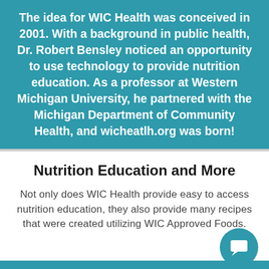The idea for WIC Health was conceived in 2001. With a background in public health, Dr. Robert Bensley noticed an opportunity to use technology to provide nutrition education. As a professor at Western Michigan University, he partnered with the Michigan Department of Community Health, and wicheatlh.org was born!
Nutrition Education and More
Not only does WIC Health provide easy to access nutrition education, they also provide many recipes that were created utilizing WIC Approved Foods.